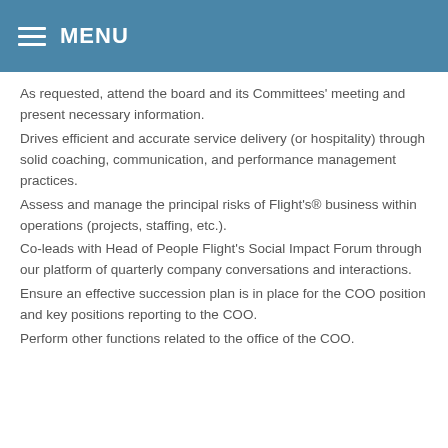MENU
As requested, attend the board and its Committees' meeting and present necessary information.
Drives efficient and accurate service delivery (or hospitality) through solid coaching, communication, and performance management practices.
Assess and manage the principal risks of Flight's® business within operations (projects, staffing, etc.).
Co-leads with Head of People Flight's Social Impact Forum through our platform of quarterly company conversations and interactions.
Ensure an effective succession plan is in place for the COO position and key positions reporting to the COO.
Perform other functions related to the office of the COO.